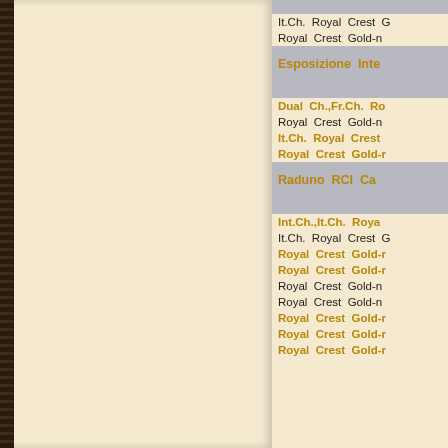[Figure (other): Left blank cream-colored page of an open book spread with spine decoration on the left edge]
It.Ch. Royal Crest G
Royal Crest Gold-n
Esposizione Inte
Dual Ch.,Fr.Ch. Ro
Royal Crest Gold-n
It.Ch. Royal Crest
Royal Crest Gold-r
Raduno RCI Ca
Int.Ch.,It.Ch. Roya
It.Ch. Royal Crest G
Royal Crest Gold-r
Royal Crest Gold-r
Royal Crest Gold-n
Royal Crest Gold-n
Royal Crest Gold-r
Royal Crest Gold-r
Royal Crest Gold-r